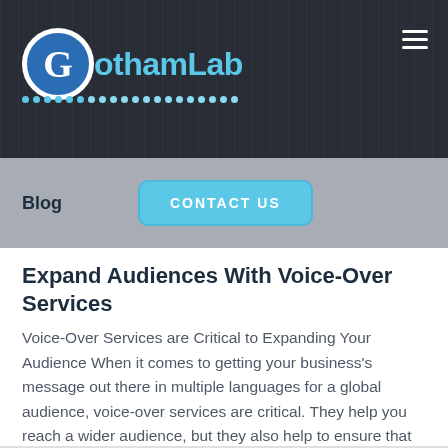[Figure (screenshot): GothamLab website header banner with dark background, professional photo of person in background]
GothamLab
Blog
CONTACT US
Expand Audiences With Voice-Over Services
Voice-Over Services are Critical to Expanding Your Audience When it comes to getting your business's message out there in multiple languages for a global audience, voice-over services are critical. They help you reach a wider audience, but they also help to ensure that your message is [...]